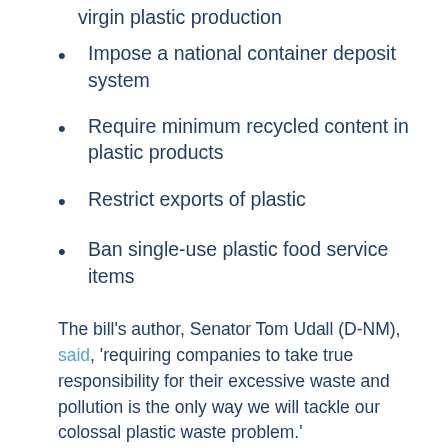virgin plastic production
Impose a national container deposit system
Require minimum recycled content in plastic products
Restrict exports of plastic
Ban single-use plastic food service items
The bill’s author, Senator Tom Udall (D-NM), said, ‘requiring companies to take true responsibility for their excessive waste and pollution is the only way we will tackle our colossal plastic waste problem.’